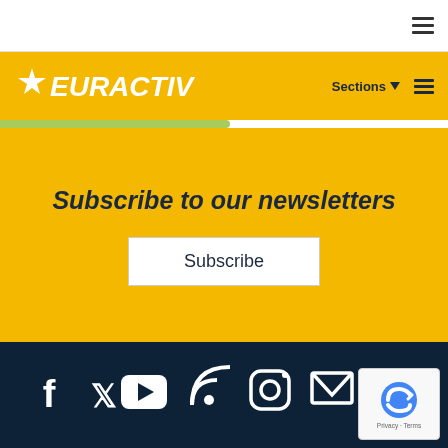EURACTIV navigation bar with hamburger menu
[Figure (logo): EURACTIV logo in white italic bold text on yellow background with star symbol]
Sections
Subscribe to our newsletters
Subscribe
[Figure (infographic): Social media icons row on dark navy background: Facebook, Twitter, YouTube, RSS, Instagram, Email, Reddit, Telegram]
[Figure (other): reCAPTCHA badge with Privacy and Terms links]